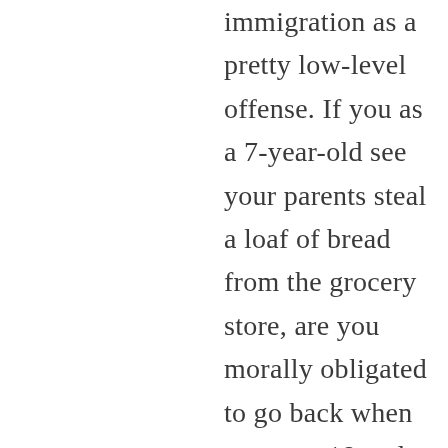immigration as a pretty low-level offense. If you as a 7-year-old see your parents steal a loaf of bread from the grocery store, are you morally obligated to go back when you turn 18 and inform the store, or the